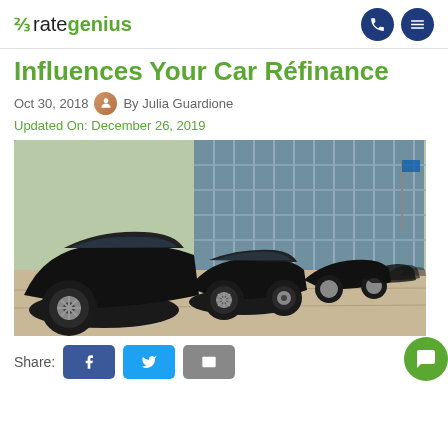rategenius
Influences Your Car Refinance
Oct 30, 2018  By Julia Guardione
Updated On: December 26, 2019
[Figure (photo): A row of black cars parked at a car dealership lot, viewed from a low angle, with a glass building facade in the background.]
Share: